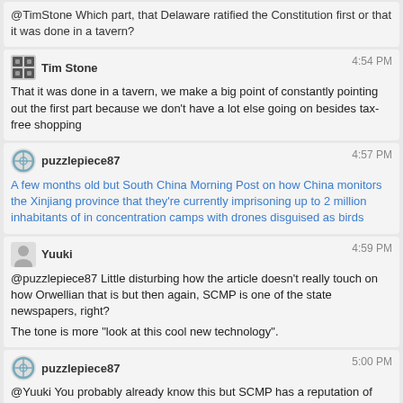@TimStone Which part, that Delaware ratified the Constitution first or that it was done in a tavern?
Tim Stone 4:54 PM — That it was done in a tavern, we make a big point of constantly pointing out the first part because we don't have a lot else going on besides tax-free shopping
puzzlepiece87 4:57 PM — A few months old but South China Morning Post on how China monitors the Xinjiang province that they're currently imprisoning up to 2 million inhabitants of in concentration camps with drones disguised as birds
Yuuki 4:59 PM — @puzzlepiece87 Little disturbing how the article doesn't really touch on how Orwellian that is but then again, SCMP is one of the state newspapers, right? The tone is more "look at this cool new technology".
puzzlepiece87 5:00 PM — @Yuuki You probably already know this but SCMP has a reputation of being a little more freelancing but yes still quite sensitive to Chinese control. And again, you already know this, but my impression compared to state media was that independence shining through.
Wipqozn 5:01 PM — @Unionhawk Thank you for helping me see the light @CapitalistHawk
puzzlepiece87 5:01 PM — Not only do you have reporting on a project sensitive enough that the researcher doesn't want to be named, but you have several explicit mentions of surveillance, and